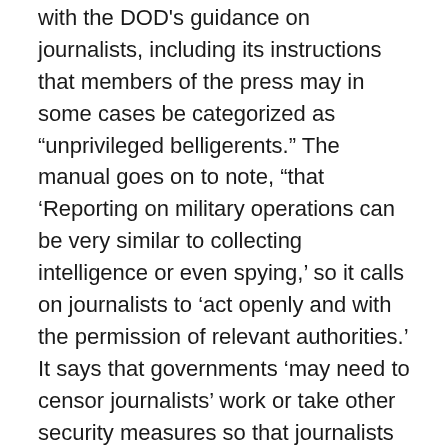with the DOD's guidance on journalists, including its instructions that members of the press may in some cases be categorized as “unprivileged belligerents.” The manual goes on to note, “that ‘Reporting on military operations can be very similar to collecting intelligence or even spying,’ so it calls on journalists to ‘act openly and with the permission of relevant authorities.’ It says that governments ‘may need to censor journalists’ work or take other security measures so that journalists do not reveal sensitive information to the enemy.’” The Board calls on the secretary of defense to revise its guidance on journalists.
Tyler Drumheller, the CIA officer that exposed the Bush administration’s reliance on false claims made by an Iraqi informant known as Curveball (real name Rāfid Aḥmad Alwān) to launch the Iraq War, died this week at the age of 63. Despite warnings from his German handlers